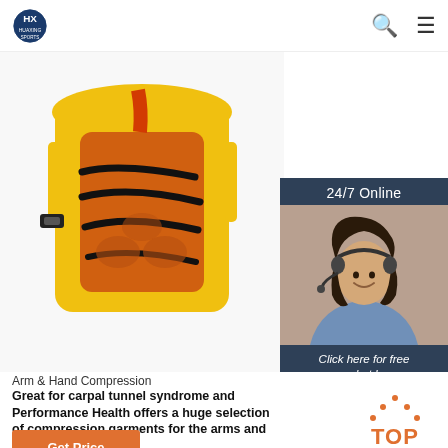HUAXING SPORTS
[Figure (photo): Yellow and orange sports protective gear (body armor/chest protector) with tiger stripe pattern and black buckle straps, shown from back/front angle on white background. Adjacent overlay: customer service representative with headset smiling, with '24/7 Online' banner and 'Click here for free chat!' call-to-action and orange QUOTATION button.]
Arm & Hand Compression
Great for carpal tunnel syndrome and Performance Health offers a huge selection of compression garments for the arms and wrist. Learn more!
Get Price
[Figure (logo): Orange TOP back-to-top button with dotted arrow pointing up]